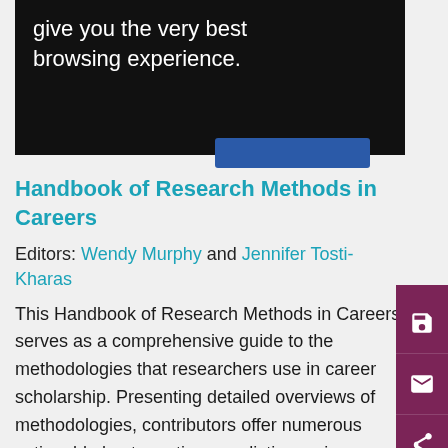[Figure (screenshot): Black banner area with white text reading 'give you the very best browsing experience.' and a partial blue button below]
Handbook of Research Methods in Careers
Editors: Wendy Murphy and Jennifer Tosti-Kharas
This Handbook of Research Methods in Careers serves as a comprehensive guide to the methodologies that researchers use in career scholarship. Presenting detailed overviews of methodologies, contributors offer numerous actionable best practices, realistic previews, and cautionary tales based on their vast collective experience of research in the discipline.